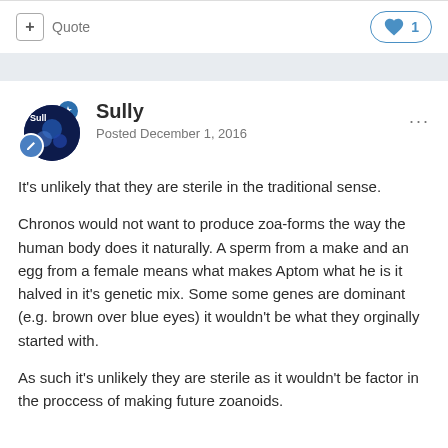+ Quote  ❤ 1
Sully
Posted December 1, 2016
It's unlikely that they are sterile in the traditional sense.
Chronos would not want to produce zoa-forms the way the human body does it naturally. A sperm from a make and an egg from a female means what makes Aptom what he is it halved in it's genetic mix. Some some genes are dominant (e.g. brown over blue eyes) it wouldn't be what they orginally started with.
As such it's unlikely they are sterile as it wouldn't be factor in the proccess of making future zoanoids.